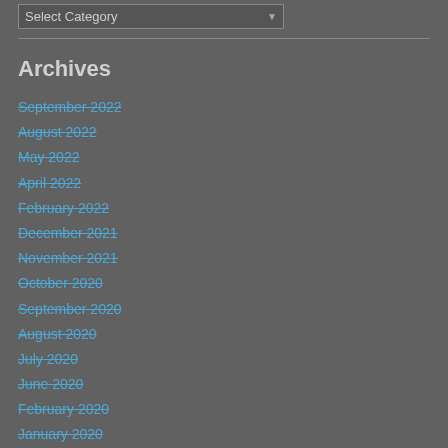Select Category
Archives
September 2022
August 2022
May 2022
April 2022
February 2022
December 2021
November 2021
October 2020
September 2020
August 2020
July 2020
June 2020
February 2020
January 2020
December 2019